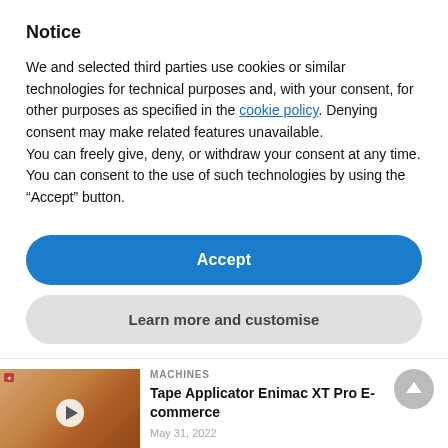Notice
We and selected third parties use cookies or similar technologies for technical purposes and, with your consent, for other purposes as specified in the cookie policy. Denying consent may make related features unavailable.
You can freely give, deny, or withdraw your consent at any time.
You can consent to the use of such technologies by using the “Accept” button.
Accept
Learn more and customise
MACHINES
Tape Applicator Enimac XT Pro E-commerce
May 31, 2022
[Figure (photo): Thumbnail image of tape applicator machine in use]
FACTS AND DATA
[Figure (photo): Thumbnail image related to facts and data article]